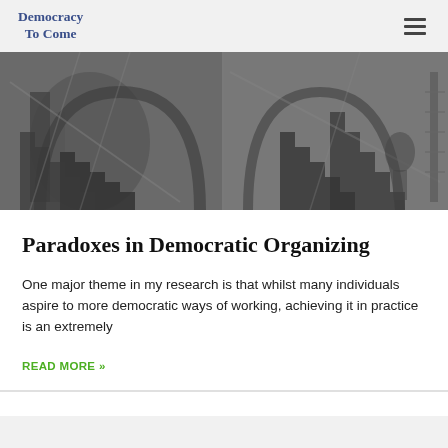Democracy To Come
[Figure (photo): Black and white artistic photograph showing architectural elements with stairs and arches, split into two panels, resembling Escher-like imagery.]
Paradoxes in Democratic Organizing
One major theme in my research is that whilst many individuals aspire to more democratic ways of working, achieving it in practice is an extremely
READ MORE »